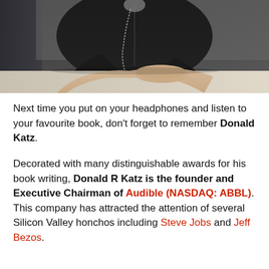[Figure (photo): A person in a black zip-up jacket sitting at a table with hands clasped, photographed from the chest down.]
Next time you put on your headphones and listen to your favourite book, don't forget to remember Donald Katz.
Decorated with many distinguishable awards for his book writing, Donald R Katz is the founder and Executive Chairman of Audible (NASDAQ: ABBL). This company has attracted the attention of several Silicon Valley honchos including Steve Jobs and Jeff Bezos.